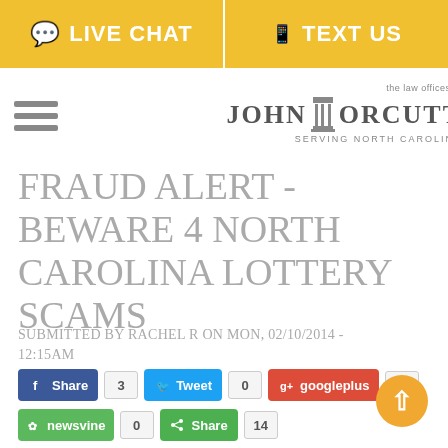LIVE CHAT   TEXT US
[Figure (logo): The Law Offices of John T. Orcutt - Serving North Carolina logo with pillar icon]
FRAUD ALERT - BEWARE 4 NORTH CAROLINA LOTTERY SCAMS
SUBMITTED BY RACHEL R ON MON, 02/10/2014 - 12:15AM
Share 3  Tweet 0  googleplus 0  newsvine 0  Share 14